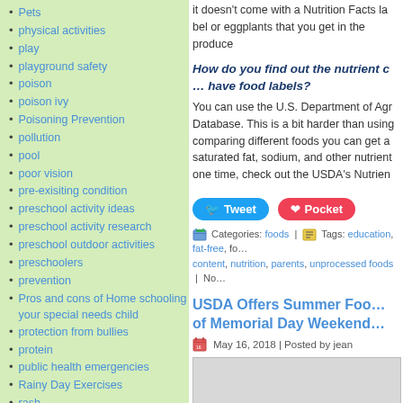Pets
physical activities
play
playground safety
poison
poison ivy
Poisoning Prevention
pollution
pool
poor vision
pre-exisiting condition
preschool activity ideas
preschool activity research
preschool outdoor activities
preschoolers
prevention
Pros and cons of Home schooling your special needs child
protection from bullies
protein
public health emergencies
Rainy Day Exercises
rash
raw dough
it doesn't come with a Nutrition Facts label or eggplants that you get in the produce
How do you find out the nutrient c... have food labels?
You can use the U.S. Department of Ag... Database. This is a bit harder than using... comparing different foods you can get a... saturated fat, sodium, and other nutrien... one time, check out the USDA's Nutrien...
Tweet   Pocket
Categories: foods | Tags: education, fat-free, fo... content, nutrition, parents, unprocessed foods | No...
USDA Offers Summer Foo... of Memorial Day Weekend...
May 16, 2018 | Posted by jean